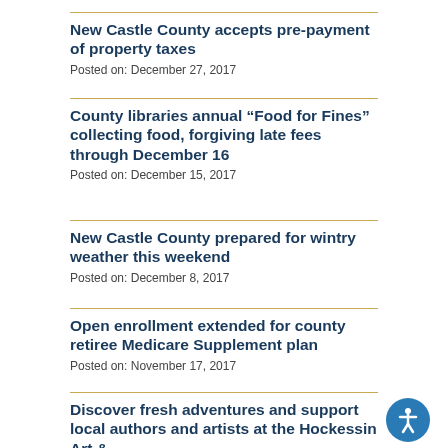New Castle County accepts pre-payment of property taxes
Posted on: December 27, 2017
County libraries annual “Food for Fines” collecting food, forgiving late fees through December 16
Posted on: December 15, 2017
New Castle County prepared for wintry weather this weekend
Posted on: December 8, 2017
Open enrollment extended for county retiree Medicare Supplement plan
Posted on: November 17, 2017
Discover fresh adventures and support local authors and artists at the Hockessin Art &
Book Fair...